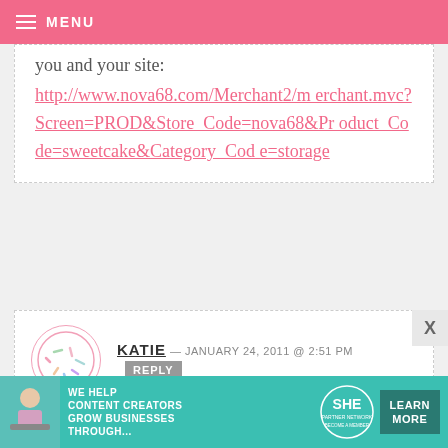MENU
you and your site:
http://www.nova68.com/Merchant2/merchant.mvc?Screen=PROD&Store_Code=nova68&Product_Code=sweetcake&Category_Code=storage
KATIE — JANUARY 24, 2011 @ 2:51 PM  REPLY
I love these! I got your book for Christmas and am having a fabulous time making delicious treats for
[Figure (infographic): SHE Media Partner Network advertisement banner: 'We help content creators grow businesses through...' with Learn More button]